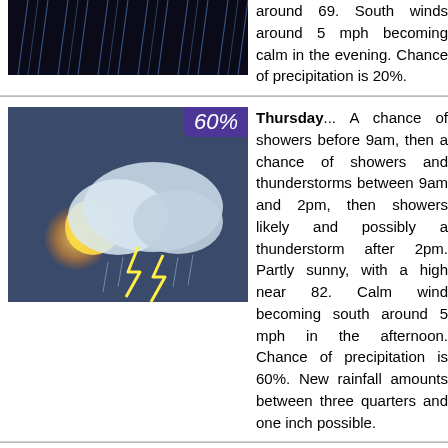[Figure (photo): Heavy rain weather icon, dark background with rain streaks. 20% precipitation badge not visible (cropped).]
around 69. South winds around 5 mph becoming calm in the evening. Chance of precipitation is 20%.
[Figure (photo): Thunderstorm weather icon showing sun, clouds, and lightning. Badge shows 60%.]
Thursday... A chance of showers before 9am, then a chance of showers and thunderstorms between 9am and 2pm, then showers likely and possibly a thunderstorm after 2pm. Partly sunny, with a high near 82. Calm wind becoming south around 5 mph in the afternoon. Chance of precipitation is 60%. New rainfall amounts between three quarters and one inch possible.
[Figure (photo): Nighttime thunderstorm weather icon with lightning. Badge shows 60%.]
Thursday Night... A chance of showers and thunderstorms before 8pm, then showers likely and possibly a thunderstorm between...